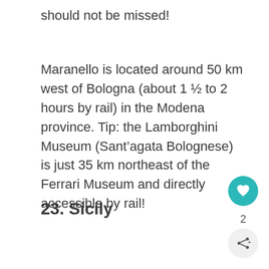should not be missed!
Maranello is located around 50 km west of Bologna (about 1 ½ to 2 hours by rail) in the Modena province. Tip: the Lamborghini Museum (Sant’agata Bolognese) is just 35 km northeast of the Ferrari Museum and directly accessible by rail!
23. Sicily